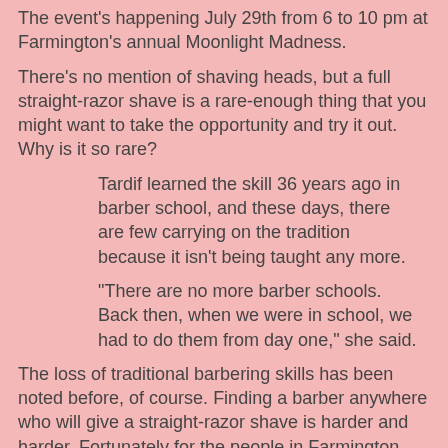The event's happening July 29th from 6 to 10 pm at Farmington's annual Moonlight Madness.
There's no mention of shaving heads, but a full straight-razor shave is a rare-enough thing that you might want to take the opportunity and try it out. Why is it so rare?
Tardif learned the skill 36 years ago in barber school, and these days, there are few carrying on the tradition because it isn't being taught any more.
"There are no more barber schools. Back then, when we were in school, we had to do them from day one," she said.
The loss of traditional barbering skills has been noted before, of course. Finding a barber anywhere who will give a straight-razor shave is harder and harder. Fortunately for the people in Farmington, there's at least one that they can go to.
HeadShaver.org at Sunday, July 17, 2005   No comments: